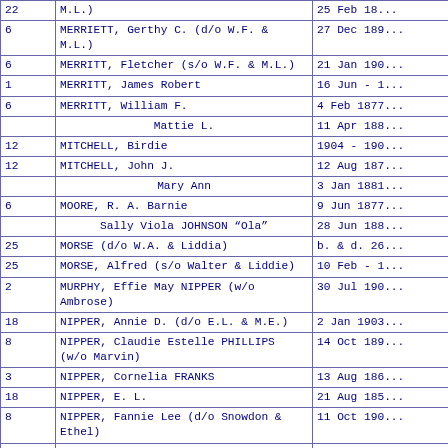| # | Name | Date |
| --- | --- | --- |
| 22 | M.L.) | 25 Feb 18... |
| 6 | MERRIETT, Gerthy C. (d/o W.F. & M.L.) | 27 Dec 189... |
| 6 | MERRITT, Fletcher (s/o W.F. & M.L.) | 21 Jan 190... |
| 1 | MERRITT, James Robert | 16 Jun - 1... |
| 6 | MERRITT, William F. | 4 Feb 1877... |
|  | Mattie L. | 11 Apr 188... |
| 12 | MITCHELL, Birdie | 1904 - 190... |
| 12 | MITCHELL, John J. | 12 Aug 187... |
|  | Mary Ann | 3 Jan 1881... |
| 6 | MOORE, R. A. Barnie | 9 Jun 1877... |
|  | Sally Viola JOHNSON "Ola" | 28 Jun 188... |
| 25 | MORSE (d/o W.A. & Liddia) | b. & d. 26... |
| 25 | MORSE, Alfred (s/o Walter & Liddie) | 10 Feb - 1... |
| 2 | MURPHY, Effie May NIPPER (w/o Ambrose) | 30 Jul 190... |
| 18 | NIPPER, Annie D. (d/o E.L. & M.E.) | 2 Jan 1903... |
| 8 | NIPPER, Claudie Estelle PHILLIPS (w/o Marvin) | 14 Oct 189... |
| 3 | NIPPER, Cornelia FRANKS | 13 Aug 186... |
| 18 | NIPPER, E. L. | 21 Aug 185... |
| 8 | NIPPER, Fannie Lee (d/o Snowdon & Ethel) | 11 Oct 190... |
| 2 | NIPPER, Hattie I. | 19 Oct 187... |
| 11 | NIPPER, Howard (s/o H.G. & W.R.) | no dates |
| 8 | NIPPER, Hughlon Orvis (s/o Marvin & Claudie) | 23 Sep 191... |
| 3 | NIPPER, Jodie J. | 11 Feb 188... |